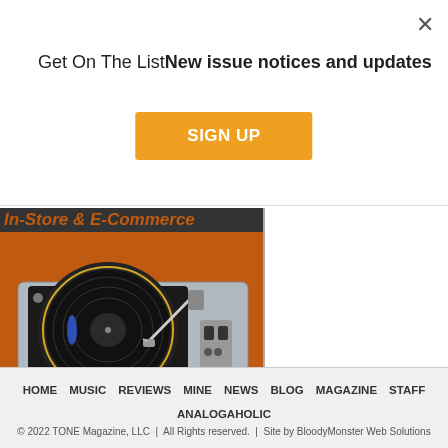Get On The ListNew issue notices and updates
SIGN UP
[Figure (illustration): Advertisement for a hi-fi audio retailer showing a silver turntable/record player on an orange background with text 'In-Store & E-Commerce', 'Over 100 Brands of Hi-End Audio', 'One of the Largest Selections in the U.S.']
HOME  MUSIC  REVIEWS  MINE  NEWS  BLOG  MAGAZINE  STAFF  ANALOGAHOLIC
© 2022 TONE Magazine, LLC  |  All Rights reserved.  |  Site by BloodyMonster Web Solutions